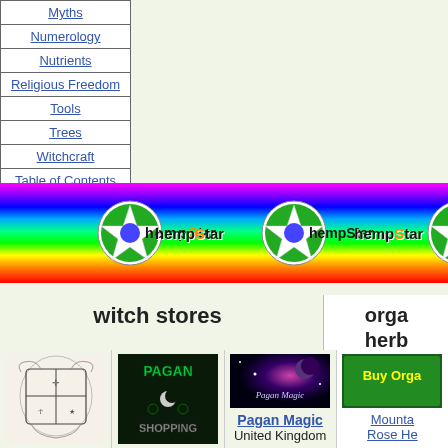Myths
Numerology
Nutrients
Religious Freedom
Tools
Trees
Witchcraft
Table of Contents
[Figure (illustration): Rainbow banner with three hempStar logos (soccer ball style with pentagram)]
witch stores
orga herb
[Figure (illustration): Enchantwear coat of arms logo]
Enchantwear
[Figure (illustration): Pagan Shopping dark green banner image]
Pagan Shopping
United States
[Figure (illustration): Pagan Magic purple space image]
Pagan Magic
United Kingdom
[Figure (illustration): Buy Orga green banner]
Mountain Rose He